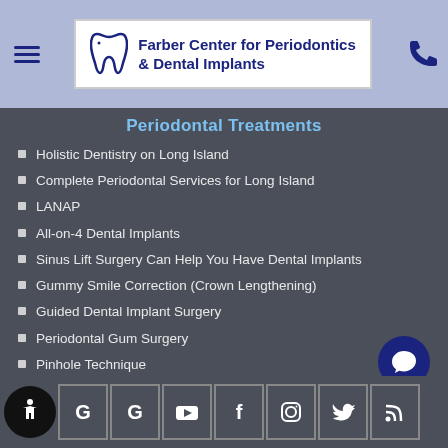Farber Center for Periodontics & Dental Implants
Periodontal Treatments
Holistic Dentistry on Long Island
Complete Periodontal Services for Long Island
LANAP
All-on-4 Dental Implants
Sinus Lift Surgery Can Help You Have Dental Implants
Gummy Smile Correction (Crown Lengthening)
Guided Dental Implant Surgery
Periodontal Gum Surgery
Pinhole Technique
Laser Gum Surgery